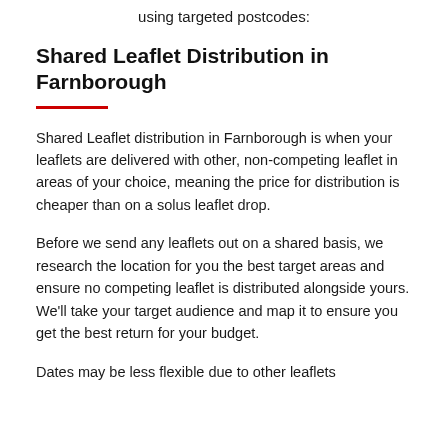using targeted postcodes:
Shared Leaflet Distribution in Farnborough
Shared Leaflet distribution in Farnborough is when your leaflets are delivered with other, non-competing leaflet in areas of your choice, meaning the price for distribution is cheaper than on a solus leaflet drop.
Before we send any leaflets out on a shared basis, we research the location for you the best target areas and ensure no competing leaflet is distributed alongside yours. We'll take your target audience and map it to ensure you get the best return for your budget.
Dates may be less flexible due to other leaflets